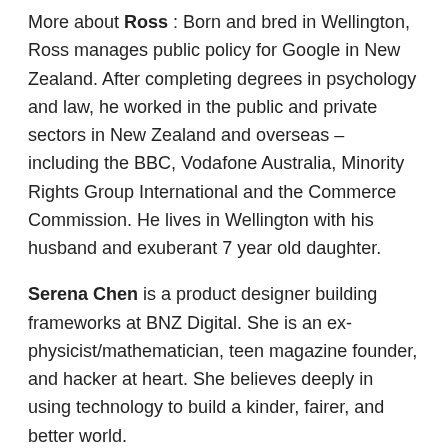More about Ross : Born and bred in Wellington, Ross manages public policy for Google in New Zealand. After completing degrees in psychology and law, he worked in the public and private sectors in New Zealand and overseas – including the BBC, Vodafone Australia, Minority Rights Group International and the Commerce Commission. He lives in Wellington with his husband and exuberant 7 year old daughter.
Serena Chen is a product designer building frameworks at BNZ Digital. She is an ex-physicist/mathematician, teen magazine founder, and hacker at heart. She believes deeply in using technology to build a kinder, fairer, and better world.
Creeture (aka Ben Creet) is a policy analyst, technology